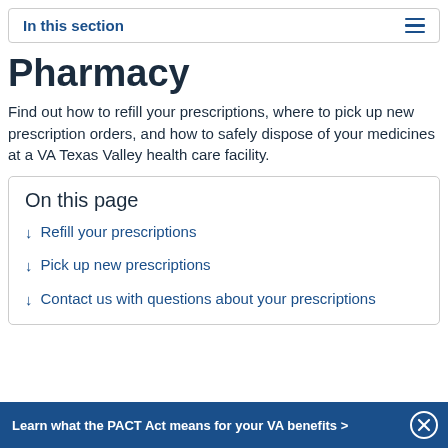In this section
Pharmacy
Find out how to refill your prescriptions, where to pick up new prescription orders, and how to safely dispose of your medicines at a VA Texas Valley health care facility.
On this page
Refill your prescriptions
Pick up new prescriptions
Contact us with questions about your prescriptions
Learn what the PACT Act means for your VA benefits >